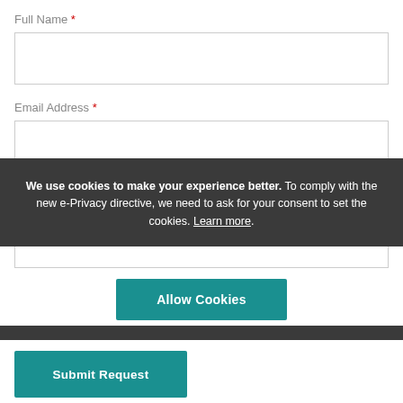Full Name *
[Figure (other): Empty text input box for Full Name field]
Email Address *
[Figure (other): Empty text input box for Email Address field]
We use cookies to make your experience better. To comply with the new e-Privacy directive, we need to ask for your consent to set the cookies. Learn more.
Contact Number
[Figure (other): Allow Cookies button (teal)]
[Figure (other): Submit Request button (teal)]